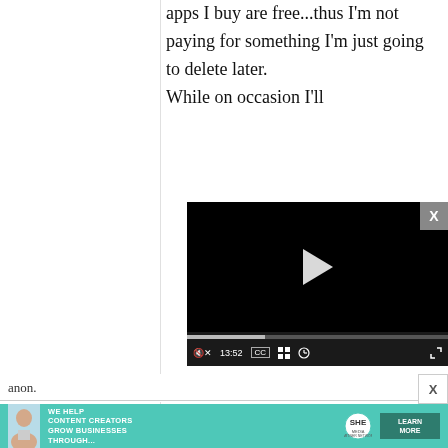apps I buy are free...thus I'm not paying for something I'm just going to delete later. While on occasion I'll
[Figure (screenshot): Embedded video player with black screen, play button, progress bar showing 13:52, and controls for mute, CC, chapters, settings, and fullscreen. Close button (X) in top right corner.]
anon.
[Figure (infographic): Advertisement banner with teal background. Text reads: WE HELP CONTENT CREATORS GROW BUSINESSES THROUGH... SHE Media Partner Network logo. LEARN MORE button.]